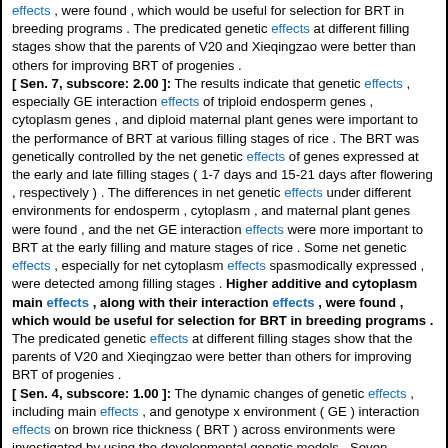effects , were found , which would be useful for selection for BRT in breeding programs . The predicated genetic effects at different filling stages show that the parents of V20 and Xieqingzao were better than others for improving BRT of progenies . [ Sen. 7, subscore: 2.00 ]: The results indicate that genetic effects , especially GE interaction effects of triploid endosperm genes , cytoplasm genes , and diploid maternal plant genes were important to the performance of BRT at various filling stages of rice . The BRT was genetically controlled by the net genetic effects of genes expressed at the early and late filling stages ( 1-7 days and 15-21 days after flowering , respectively ) . The differences in net genetic effects under different environments for endosperm , cytoplasm , and maternal plant genes were found , and the net GE interaction effects were more important to BRT at the early filling and mature stages of rice . Some net genetic effects , especially for net cytoplasm effects spasmodically expressed , were detected among filling stages . Higher additive and cytoplasm main effects , along with their interaction effects , were found , which would be useful for selection for BRT in breeding programs . The predicated genetic effects at different filling stages show that the parents of V20 and Xieqingzao were better than others for improving BRT of progenies . [ Sen. 4, subscore: 1.00 ]: The dynamic changes of genetic effects , including main effects , and genotype x environment ( GE ) interaction effects on brown rice thickness ( BRT ) across environments were investigated by using the developmental genetic models . Seven cytoplasmic male sterile lines of indica rice ( Oryza sativa L ) as females and five restoring lines as males were used in a factorial design to produce grains of F ( 1 ) s and F ( 2 ) s in two environments ( years ) for developmental genetic analysis . The results indicate that genetic effects , especially GE interaction effects of triploid endosperm genes ,